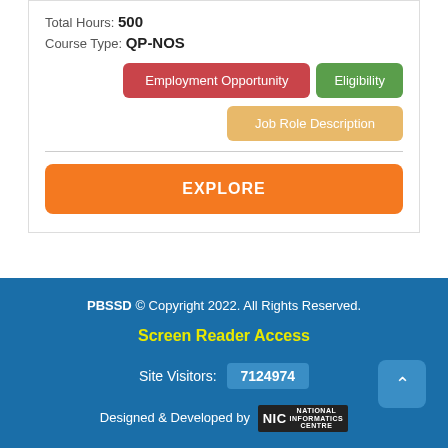Total Hours: 500
Course Type: QP-NOS
Employment Opportunity
Eligibility
Job Role Description
EXPLORE
PBSSD © Copyright 2022. All Rights Reserved.
Screen Reader Access
Site Visitors: 7124974
Designed & Developed by NIC National Informatics Centre